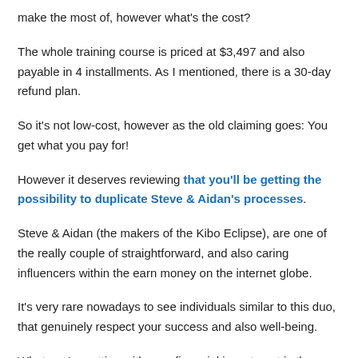make the most of, however what's the cost?
The whole training course is priced at $3,497 and also payable in 4 installments. As I mentioned, there is a 30-day refund plan.
So it's not low-cost, however as the old claiming goes: You get what you pay for!
However it deserves reviewing that you'll be getting the possibility to duplicate Steve & Aidan's processes.
Steve & Aidan (the makers of the Kibo Eclipse), are one of the really couple of straightforward, and also caring influencers within the earn money on the internet globe.
It's very rare nowadays to see individuals similar to this duo, that genuinely respect your success and also well-being.
What you're getting with your financial investment is the capacity to